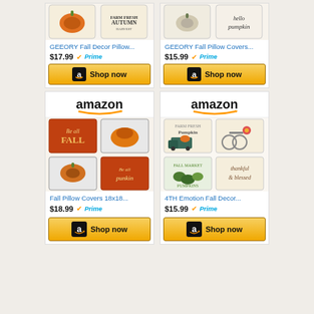[Figure (screenshot): Amazon product card top partial - GEEORY Fall Decor Pillow with autumn harvest pumpkin image, price $17.99, Prime badge, Shop now button]
[Figure (screenshot): Amazon product card top partial - GEEORY Fall Pillow Covers with hello pumpkin image, price $15.99, Prime badge, Shop now button]
[Figure (screenshot): Amazon product card - Fall Pillow Covers 18x18, amazon logo, fall-themed pillow set image, price $18.99, Prime badge, Shop now button]
[Figure (screenshot): Amazon product card - 4TH Emotion Fall Decor, amazon logo, farm fresh pumpkin pillow set image, price $15.99, Prime badge, Shop now button]